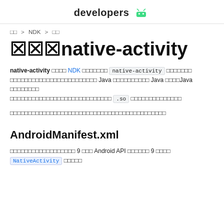developers [Android logo]
□□ > NDK > □□
□□□native-activity
native-activity □□□□ NDK □□□□□□□ native-activity □□□□□□□ □□□□□□□□□□□□□□□□□□□□□□□□ Java □□□□□□□□□□ Java □□□□Java □□□□□□□□ □□□□□□□□□□□□□□□□□□□□□□□□□□ .so □□□□□□□□□□□□□□
□□□□□□□□□□□□□□□□□□□□□□□□□□□□□□□□□□□□□□□□□□
AndroidManifest.xml
□□□□□□□□□□□□□□□□□□ 9 □□□ Android API □□□□□□ 9 □□□□ NativeActivity □□□□□